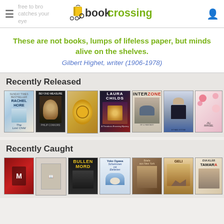bookcrossing — free to browse, anything that catches your eye, just want to say Hi, send me a PM.
These are not books, lumps of lifeless paper, but minds alive on the shelves.
Gilbert Highet, writer (1906-1978)
Recently Released
[Figure (photo): Row of recently released book covers: Rachel Hore The Lost Child, Beyond Measure by Philip Connors, illustrated children's book, Laura Childs book, Interzone magazine, man in jacket cover, floral cover]
Recently Caught
[Figure (photo): Row of recently caught book covers: red thriller, illustrated placeholder, Bullenmord, Yoko Ogawa Schwimmen mit Elefanten, Briefe aus New York, desert landscape cover, Eva Klär Tamara]